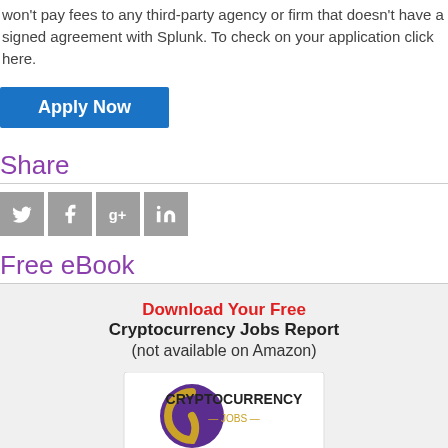won't pay fees to any third-party agency or firm that doesn't have a signed agreement with Splunk. To check on your application click here.
Apply Now
Share
[Figure (infographic): Social media share icons: Twitter, Facebook, Google+, LinkedIn — grey square buttons with white icons]
Free eBook
[Figure (illustration): Cryptocurrency Jobs Report eBook cover with purple and gold logo, text: Download Your Free Cryptocurrency Jobs Report (not available on Amazon)]